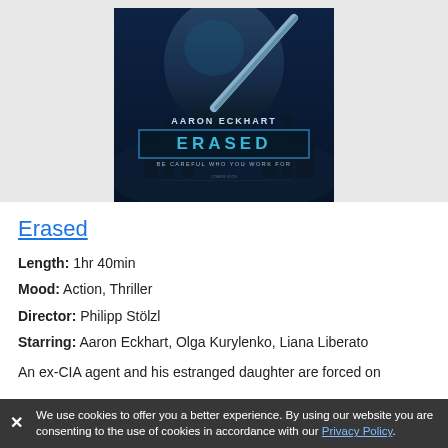[Figure (photo): Movie poster for 'Erased' featuring Aaron Eckhart holding a gun with a blue-toned cityscape background. Text on poster reads 'AARON ECKHART', 'ERASED', 'BE CAREFUL WHO YOU WORK FOR', 'COMING SOON'.]
Erased
Length: 1hr 40min
Mood: Action, Thriller
Director: Philipp Stölzl
Starring: Aaron Eckhart, Olga Kurylenko, Liana Liberato
An ex-CIA agent and his estranged daughter are forced on
We use cookies to offer you a better experience. By using our website you are consenting to the use of cookies in accordance with our Privacy Policy.